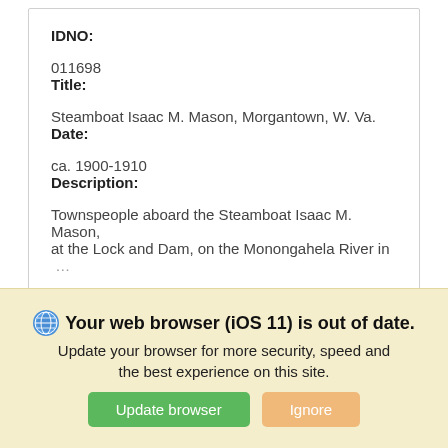IDNO:
011698
Title:
Steamboat Isaac M. Mason, Morgantown, W. Va.
Date:
ca. 1900-1910
Description:
Townspeople aboard the Steamboat Isaac M. Mason, at the Lock and Dam, on the Monongahela River in …
Bookmark
[Figure (screenshot): Partial view of a second record card below]
Your web browser (iOS 11) is out of date. Update your browser for more security, speed and the best experience on this site.
Update browser
Ignore